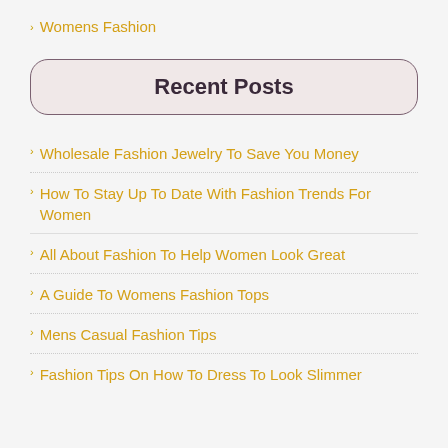Womens Fashion
Recent Posts
Wholesale Fashion Jewelry To Save You Money
How To Stay Up To Date With Fashion Trends For Women
All About Fashion To Help Women Look Great
A Guide To Womens Fashion Tops
Mens Casual Fashion Tips
Fashion Tips On How To Dress To Look Slimmer